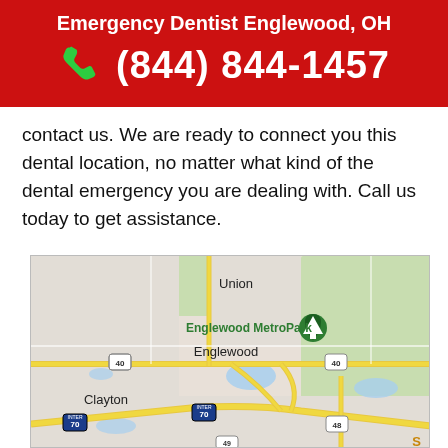Emergency Dentist Englewood, OH
(844) 844-1457
contact us. We are ready to connect you this dental location, no matter what kind of the dental emergency you are dealing with. Call us today to get assistance.
[Figure (map): Google Maps view showing Englewood, OH area with Englewood MetroPark, Union to the north, Clayton to the southwest. Roads include US-40, I-70, and route 48 and 49. Yellow roads indicate major highways crossing the area.]